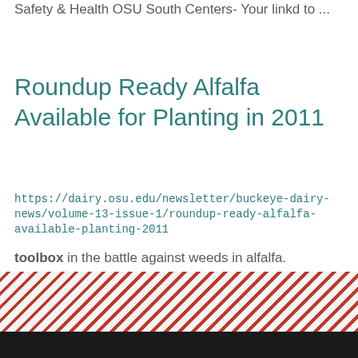Safety & Health OSU South Centers- Your linkd to ...
Roundup Ready Alfalfa Available for Planting in 2011
https://dairy.osu.edu/newsletter/buckeye-dairy-news/volume-13-issue-1/roundup-ready-alfalfa-available-planting-2011
toolbox in the battle against weeds in alfalfa. Glyphosate may be especially helpful during stand ...